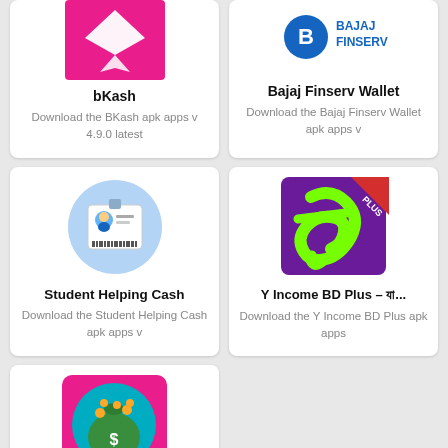[Figure (logo): bKash app logo - pink/magenta with white geometric diamond/kite shape]
bKash
Download the BKash apk apps v 4.9.0 latest
[Figure (logo): Bajaj Finserv logo - blue Bajaj B circle icon with BAJAJ FINSERV text]
Bajaj Finserv Wallet
Download the Bajaj Finserv Wallet apk apps v
[Figure (illustration): Student Helping Cash - illustration of ID card with a person on a light blue circle background]
Student Helping Cash
Download the Student Helping Cash apk apps v
[Figure (logo): Y Income BD Plus logo - green stylized Bengali letter on purple background with red PLUS banner]
Y Income BD Plus – যা...
Download the Y Income BD Plus apk apps
[Figure (illustration): Money bag app icon - green money bag with coins on blue circular background, magenta/pink border]